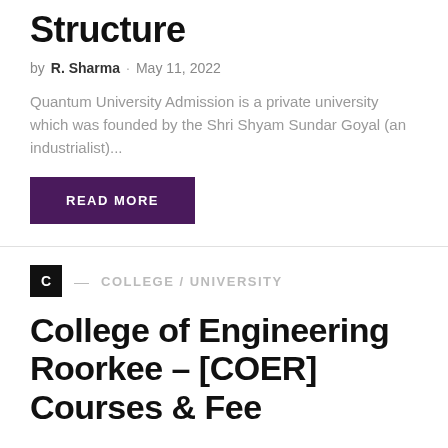Structure
by R. Sharma · May 11, 2022
Quantum University Admission is a private university which was founded by the Shri Shyam Sundar Goyal (an industrialist)...
READ MORE
C — COLLEGE / UNIVERSITY
College of Engineering Roorkee – [COER] Courses & Fee